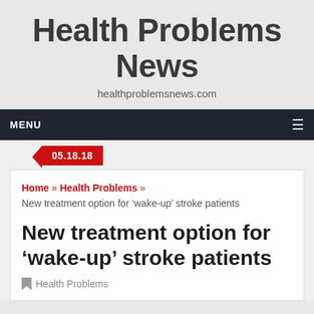Health Problems News
healthproblemsnews.com
MENU
05.18.18
Home » Health Problems »
New treatment option for ‘wake-up’ stroke patients
New treatment option for ‘wake-up’ stroke patients
Health Problems